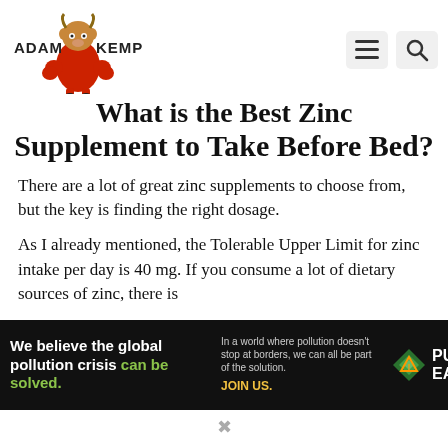Adam Kemp Fitness
What is the Best Zinc Supplement to Take Before Bed?
There are a lot of great zinc supplements to choose from, but the key is finding the right dosage.
As I already mentioned, the Tolerable Upper Limit for zinc intake per day is 40 mg. If you consume a lot of dietary sources of zinc, there is
[Figure (other): Pure Earth advertisement banner: 'We believe the global pollution crisis can be solved. In a world where pollution doesn't stop at borders, we can all be part of the solution. JOIN US.' with Pure Earth logo.]